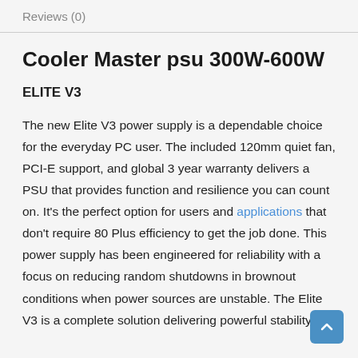Reviews (0)
Cooler Master psu 300W-600W
ELITE V3
The new Elite V3 power supply is a dependable choice for the everyday PC user. The included 120mm quiet fan, PCI-E support, and global 3 year warranty delivers a PSU that provides function and resilience you can count on. It's the perfect option for users and applications that don't require 80 Plus efficiency to get the job done. This power supply has been engineered for reliability with a focus on reducing random shutdowns in brownout conditions when power sources are unstable. The Elite V3 is a complete solution delivering powerful stability in a